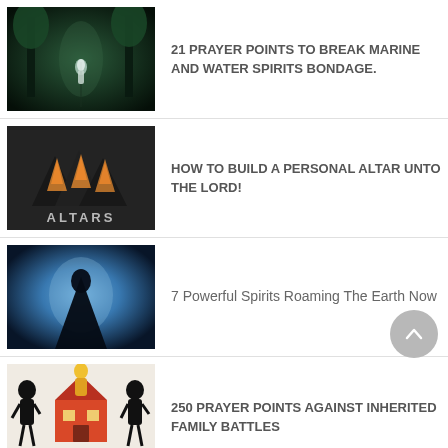21 PRAYER POINTS TO BREAK MARINE AND WATER SPIRITS BONDAGE.
HOW TO BUILD A PERSONAL ALTAR UNTO THE LORD!
7 Powerful Spirits Roaming The Earth Now
250 PRAYER POINTS AGAINST INHERITED FAMILY BATTLES
HOW TO CHANGE THINGS BY THE POWER MIDNIGHT PRAYING!
Winning The War of Seperation From Spirit